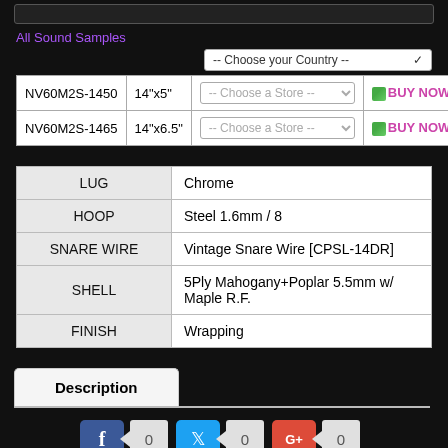All Sound Samples
| Model | Size | Store | Action |
| --- | --- | --- | --- |
| NV60M2S-1450 | 14"x5" | -- Choose a Store -- | BUY NOW |
| NV60M2S-1465 | 14"x6.5" | -- Choose a Store -- | BUY NOW |
| Spec | Value |
| --- | --- |
| LUG | Chrome |
| HOOP | Steel 1.6mm / 8 |
| SNARE WIRE | Vintage Snare Wire [CPSL-14DR] |
| SHELL | 5Ply Mahogany+Poplar 5.5mm w/ Maple R.F. |
| FINISH | Wrapping |
Description
[Figure (screenshot): Social sharing buttons: Facebook, Twitter, Google+ each with count of 0]